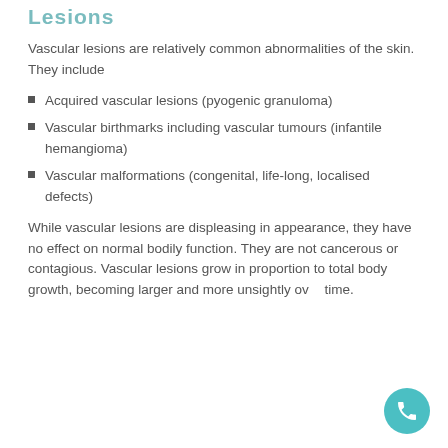Lesions
Vascular lesions are relatively common abnormalities of the skin. They include
Acquired vascular lesions (pyogenic granuloma)
Vascular birthmarks including vascular tumours (infantile hemangioma)
Vascular malformations (congenital, life-long, localised defects)
While vascular lesions are displeasing in appearance, they have no effect on normal bodily function. They are not cancerous or contagious. Vascular lesions grow in proportion to total body growth, becoming larger and more unsightly over time.